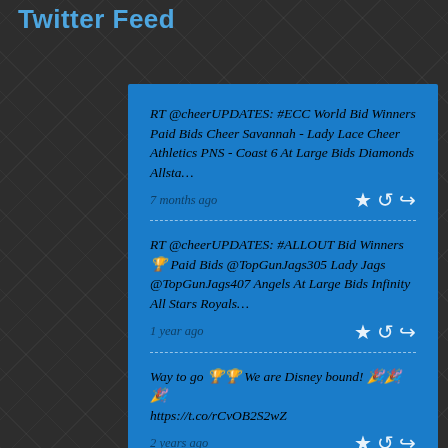Twitter Feed
RT @cheerUPDATES: #ECC World Bid Winners Paid Bids Cheer Savannah - Lady Lace Cheer Athletics PNS - Coast 6 At Large Bids Diamonds Allsta…
7 months ago
RT @cheerUPDATES: #ALLOUT Bid Winners 🏆 Paid Bids @TopGunJags305 Lady Jags @TopGunJags407 Angels At Large Bids Infinity All Stars Royals…
1 year ago
Way to go 🏆🏆 We are Disney bound! 🎉🎉🎉
https://t.co/rCvOB2S2wZ
2 years ago
FOLLOW US ON TWITTER